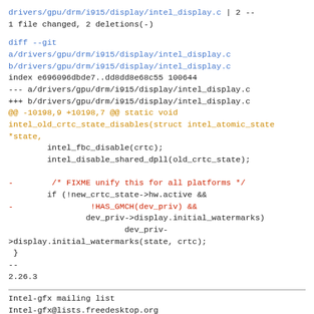drivers/gpu/drm/i915/display/intel_display.c | 2 --
1 file changed, 2 deletions(-)
diff --git
a/drivers/gpu/drm/i915/display/intel_display.c
b/drivers/gpu/drm/i915/display/intel_display.c
index e696096dbde7..dd8dd8e68c55 100644
--- a/drivers/gpu/drm/i915/display/intel_display.c
+++ b/drivers/gpu/drm/i915/display/intel_display.c
@@ -10198,9 +10198,7 @@ static void
intel_old_crtc_state_disables(struct intel_atomic_state
*state,
        intel_fbc_disable(crtc);
        intel_disable_shared_dpll(old_crtc_state);

-        /* FIXME unify this for all platforms */
        if (!new_crtc_state->hw.active &&
-                !HAS_GMCH(dev_priv) &&
                dev_priv->display.initial_watermarks)
                        dev_priv-
>display.initial_watermarks(state, crtc);
 }
--
2.26.3
Intel-gfx mailing list
Intel-gfx@lists.freedesktop.org
https://lists.freedesktop.org/mailman/listinfo/intel-gfx